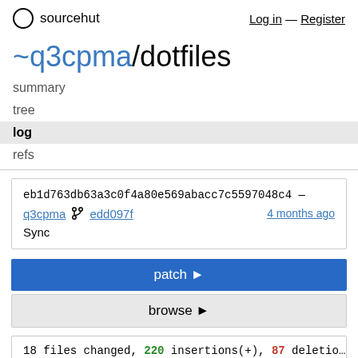sourcehut — Log in — Register
~q3cpma/dotfiles
summary
tree
log
refs
eb1d763db63a3c0f4a80e569abacc7c5597048c4 —
q3cpma  edd097f  4 months ago
Sync
patch ▶
browse ▶
18 files changed, 220 insertions(+), 87 deletions(-)